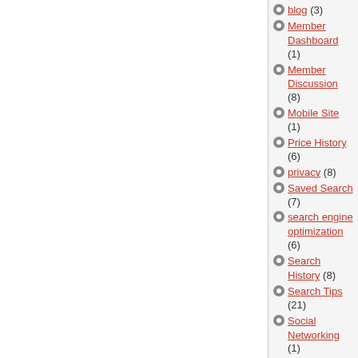blog (3)
Member Dashboard (1)
Member Discussion (8)
Mobile Site (1)
Price History (6)
privacy (8)
Saved Search (7)
search engine optimization (6)
Search History (8)
Search Tips (21)
Social Networking (1)
Subaccounts (5)